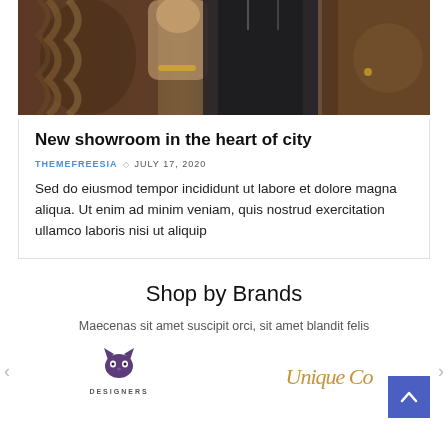[Figure (photo): Fashion photo showing clothing on hangers, a person with braided hair and dark garments visible in a showroom setting]
New showroom in the heart of city
THEMEFREESIA ◇ JULY 17, 2020
Sed do eiusmod tempor incididunt ut labore et dolore magna aliqua. Ut enim ad minim veniam, quis nostrud exercitation ullamco laboris nisi ut aliquip
Shop by Brands
Maecenas sit amet suscipit orci, sit amet blandit felis
[Figure (logo): Designers brand logo with cat icon above text DESIGNERS]
[Figure (logo): Unique Co brand logo in cursive gold/orange script]